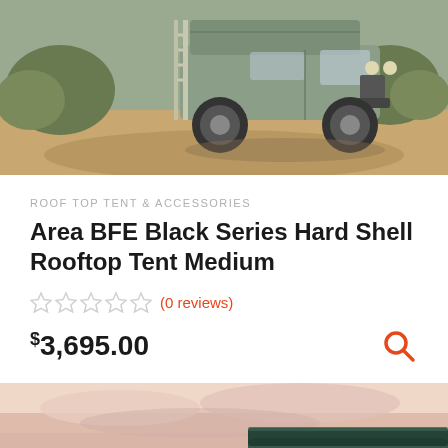[Figure (photo): Product photo showing a green/grey off-road vehicle (Toyota FJ Cruiser style) with a rooftop tent and ladder attached, parked on a dirt trail surrounded by desert scrub vegetation.]
ROOF TOP TENT & ACCESSORIES
Area BFE Black Series Hard Shell Rooftop Tent Medium
★★★★★ (0 reviews)
$3,695.00
[Figure (photo): Second product photo showing what appears to be a rooftop tent open on a vehicle against a dramatic sunset/dusk sky with clouds in shades of pink and purple.]